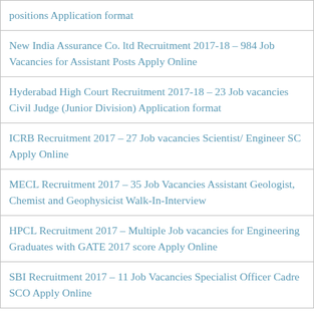positions Application format
New India Assurance Co. ltd Recruitment 2017-18 – 984 Job Vacancies for Assistant Posts Apply Online
Hyderabad High Court Recruitment 2017-18 – 23 Job vacancies Civil Judge (Junior Division) Application format
ICRB Recruitment 2017 – 27 Job vacancies Scientist/ Engineer SC Apply Online
MECL Recruitment 2017 – 35 Job Vacancies Assistant Geologist, Chemist and Geophysicist Walk-In-Interview
HPCL Recruitment 2017 – Multiple Job vacancies for Engineering Graduates with GATE 2017 score Apply Online
SBI Recruitment 2017 – 11 Job Vacancies Specialist Officer Cadre SCO Apply Online